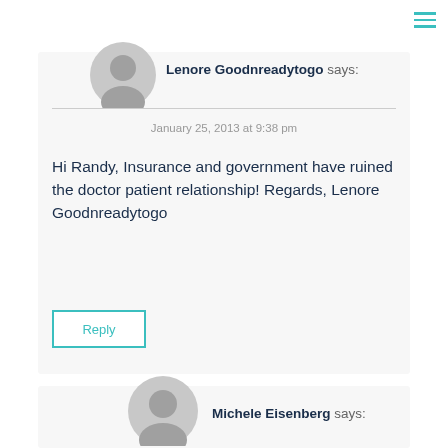Lenore Goodnreadytogo says:
January 25, 2013 at 9:38 pm
Hi Randy, Insurance and government have ruined the doctor patient relationship! Regards, Lenore Goodnreadytogo
Reply
Michele Eisenberg says: